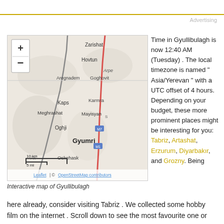Advertising
[Figure (map): Interactive map of Gyullibulagh showing surrounding towns including Zarishat, Hovtun, Aregnadem, Goghovit, Kaps, Karmra, Meghrashat, Mayisyan, Oghji, Gyumri, Oskehask, with scale bar showing 10 km / 5 mi and Leaflet / OpenStreetMap attribution]
Interactive map of Gyullibulagh
Time in Gyullibulagh is now 12:40 AM (Tuesday) . The local timezone is named " Asia/Yerevan " with a UTC offset of 4 hours. Depending on your budget, these more prominent places might be interesting for you: Tabriz, Artashat, Erzurum, Diyarbakir, and Grozny. Being here already, consider visiting Tabriz . We collected some hobby film on the internet . Scroll down to see the most favourite one or select the video collection in the navigation. Check out our recomondations for
Being here already, consider visiting Tabriz . We collected some hobby film on the internet . Scroll down to see the most favourite one or select the video collection in the navigation. Check out our recomondations for